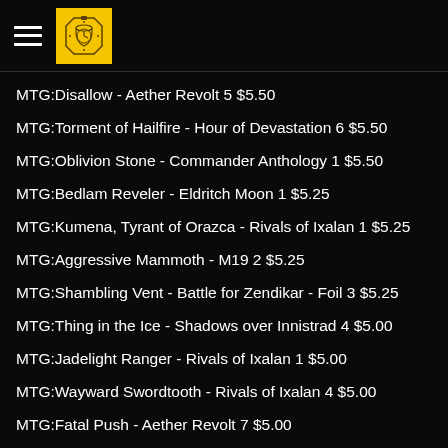MTG:Disallow - Aether Revolt 5 $5.50
MTG:Torment of Hailfire - Hour of Devastation 6 $5.50
MTG:Oblivion Stone - Commander Anthology 1 $5.50
MTG:Bedlam Reveler - Eldritch Moon 1 $5.25
MTG:Kumena, Tyrant of Orazca - Rivals of Ixalan 1 $5.25
MTG:Aggressive Mammoth - M19 2 $5.25
MTG:Shambling Vent - Battle for Zendikar - Foil 3 $5.25
MTG:Thing in the Ice - Shadows over Innistrad 4 $5.00
MTG:Jadelight Ranger - Rivals of Ixalan 1 $5.00
MTG:Wayward Swordtooth - Rivals of Ixalan 4 $5.00
MTG:Fatal Push - Aether Revolt 7 $5.00
MTG:Teferi, Timebender - Dominaria 1 $5.00